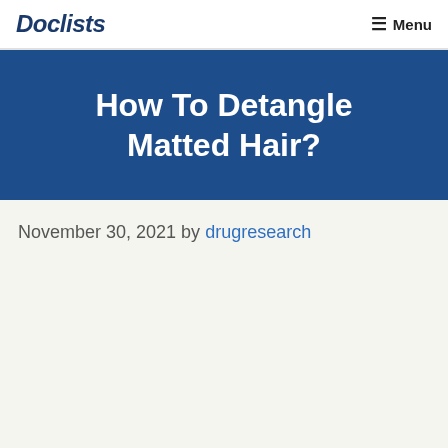Doclists  Menu
How To Detangle Matted Hair?
November 30, 2021 by drugresearch